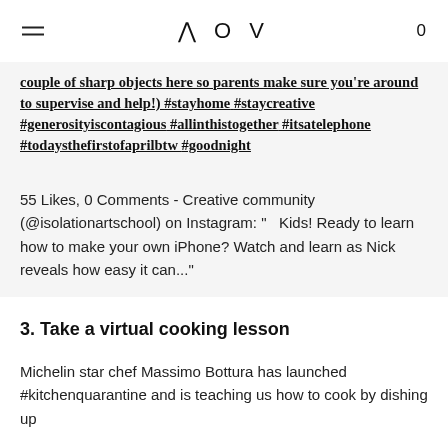AOV
couple of sharp objects here so parents make sure you're around to supervise and help!) #stayhome #staycreative #generosityiscontagious #allinthistogether #itsatelephone #todaysthefirstofaprilbtw #goodnight
55 Likes, 0 Comments - Creative community (@isolationartschool) on Instagram: "   Kids! Ready to learn how to make your own iPhone? Watch and learn as Nick reveals how easy it can..."
3. Take a virtual cooking lesson
Michelin star chef Massimo Bottura has launched #kitchenquarantine and is teaching us how to cook by dishing up